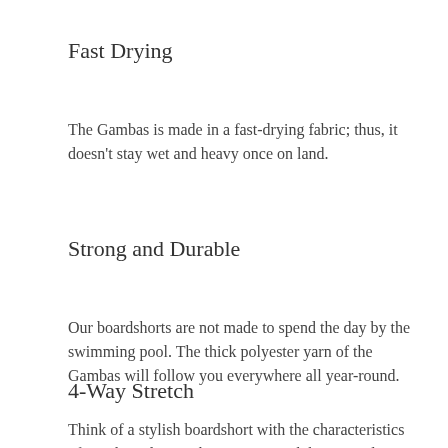Fast Drying
The Gambas is made in a fast-drying fabric; thus, it doesn't stay wet and heavy once on land.
Strong and Durable
Our boardshorts are not made to spend the day by the swimming pool. The thick polyester yarn of the Gambas will follow you everywhere all year-round.
4-Way Stretch
Think of a stylish boardshort with the characteristics of a technical one. The 4-way stretch brings style without scarifying stretch, so you will enjoy your boardshort both in and out of the water.